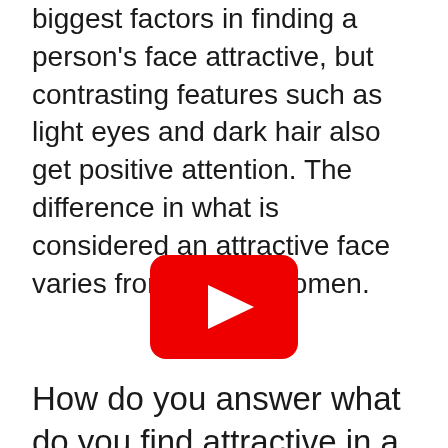biggest factors in finding a person's face attractive, but contrasting features such as light eyes and dark hair also get positive attention. The difference in what is considered an attractive face varies from men to women.
[Figure (other): YouTube video play button placeholder — red rounded rectangle with white triangle play icon]
How do you answer what do you find attractive in a